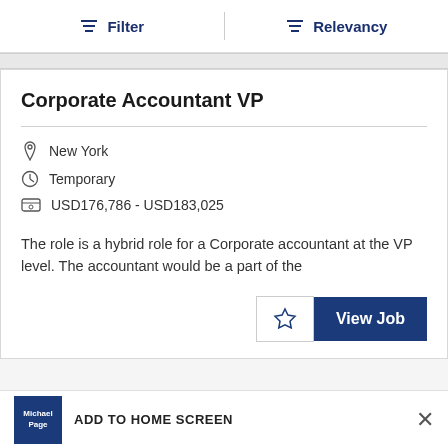Filter   Relevancy
Corporate Accountant VP
New York
Temporary
USD176,786 - USD183,025
The role is a hybrid role for a Corporate accountant at the VP level. The accountant would be a part of the
ADD TO HOME SCREEN